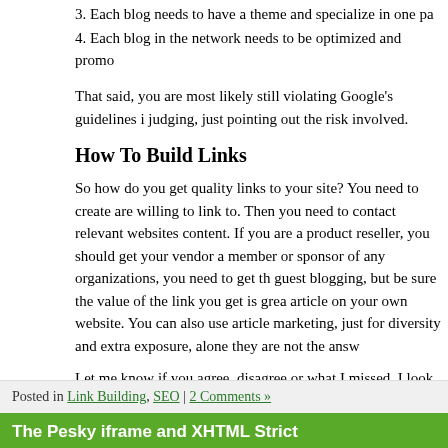3. Each blog needs to have a theme and specialize in one pa
4. Each blog in the network needs to be optimized and promo
That said, you are most likely still violating Google's guidelines i judging, just pointing out the risk involved.
How To Build Links
So how do you get quality links to your site? You need to create are willing to link to. Then you need to contact relevant websites content. If you are a product reseller, you should get your vendor a member or sponsor of any organizations, you need to get th guest blogging, but be sure the value of the link you get is grea article on your own website. You can also use article marketing, just for diversity and extra exposure, alone they are not the answ
Let me know if you agree, disagree or what I missed. I look for Building 2010
Posted in Link Building, SEO | 2 Comments »
The Pesky iframe and XHTML Strict
Update: Example code updated. It used the shortened form sit well with IE. It now uses <iframe></iframe> which works. play well with Firefox 4 (perhaps even lower versions) in sho